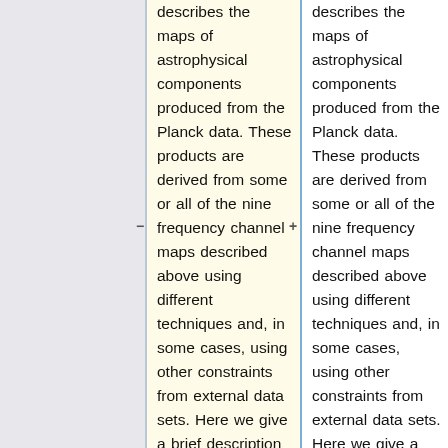describes the maps of astrophysical components produced from the Planck data. These products are derived from some or all of the nine frequency channel maps described above using different techniques and, in some cases, using other constraints from external data sets. Here we give a brief description of the product and how it is obtained,
describes the maps of astrophysical components produced from the Planck data. These products are derived from some or all of the nine frequency channel maps described above using different techniques and, in some cases, using other constraints from external data sets. Here we give a brief description of each product and how it is